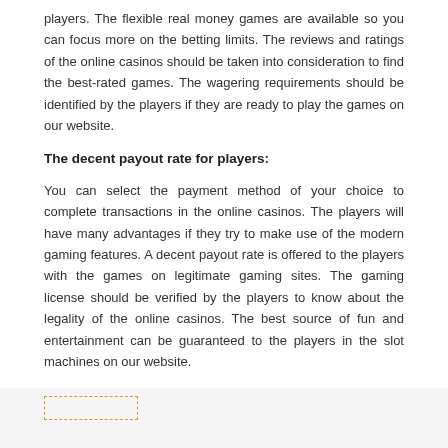players. The flexible real money games are available so you can focus more on the betting limits. The reviews and ratings of the online casinos should be taken into consideration to find the best-rated games. The wagering requirements should be identified by the players if they are ready to play the games on our website.
The decent payout rate for players:
You can select the payment method of your choice to complete transactions in the online casinos. The players will have many advantages if they try to make use of the modern gaming features. A decent payout rate is offered to the players with the games on legitimate gaming sites. The gaming license should be verified by the players to know about the legality of the online casinos. The best source of fun and entertainment can be guaranteed to the players in the slot machines on our website.